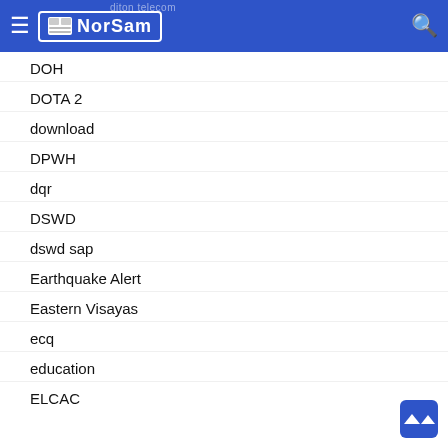NorSam
DOH
DOTA 2
download
DPWH
dqr
DSWD
dswd sap
Earthquake Alert
Eastern Visayas
ecq
education
ELCAC